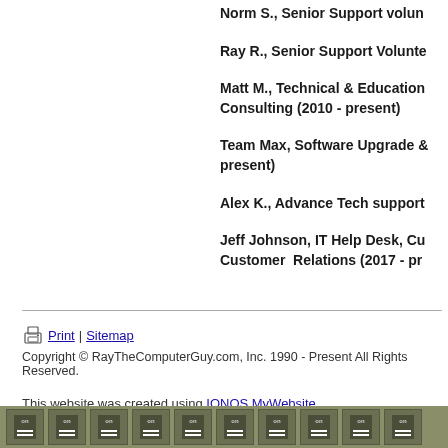Norm S., Senior Support volun
Ray R., Senior Support Volunte
Matt M., Technical & Education Consulting (2010 - present)
Team Max, Software Upgrade & present)
Alex K., Advance Tech support
Jeff Johnson, IT Help Desk, Cu Customer  Relations (2017 - pr
Print | Sitemap
Copyright © RayTheComputerGuy.com, Inc. 1990 - Present All Rights Reserved.

This website was created using IONOS MyWebsite.